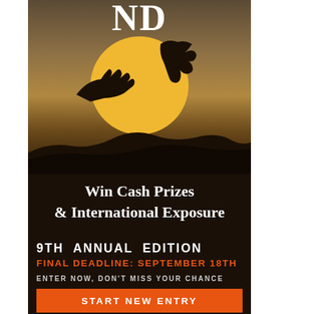[Figure (photo): Photography contest advertisement poster with dark background. Shows silhouettes of hands reaching around a large golden sun against a warm sunset sky, with dark hill/ground silhouette at bottom. 'ND' letters visible at top.]
Win Cash Prizes & International Exposure
9TH ANNUAL EDITION
FINAL DEADLINE: SEPTEMBER 18TH
ENTER NOW, DON'T MISS YOUR CHANCE
START NEW ENTRY